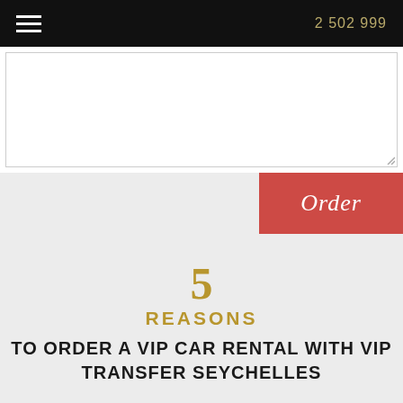2 502 999
[Figure (screenshot): White textarea input box with resize handle in bottom-right corner]
Order
5 REASONS TO ORDER A VIP CAR RENTAL WITH VIP TRANSFER SEYCHELLES